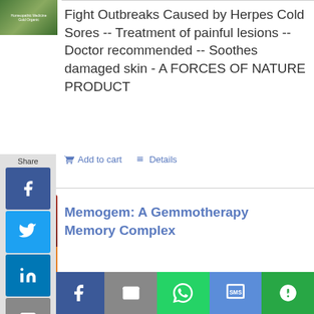[Figure (photo): Product image thumbnail at top left, green/nature themed]
Fight Outbreaks Caused by Herpes Cold Sores -- Treatment of painful lesions -- Doctor recommended -- Soothes damaged skin - A FORCES OF NATURE PRODUCT
Add to cart   Details
[Figure (photo): HerbalGem product box - Memogem gemmotherapy supplement]
Memogem: A Gemmotherapy Memory Complex
[Figure (infographic): Social share sidebar with Facebook, Twitter, LinkedIn, Email, Share, Pinterest buttons]
[Figure (infographic): Bottom share bar with Twitter, Facebook, Email, WhatsApp, SMS, More buttons]